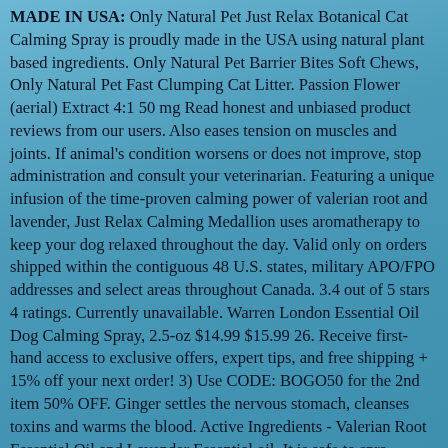MADE IN USA: Only Natural Pet Just Relax Botanical Cat Calming Spray is proudly made in the USA using natural plant based ingredients. Only Natural Pet Barrier Bites Soft Chews, Only Natural Pet Fast Clumping Cat Litter. Passion Flower (aerial) Extract 4:1 50 mg Read honest and unbiased product reviews from our users. Also eases tension on muscles and joints. If animal's condition worsens or does not improve, stop administration and consult your veterinarian. Featuring a unique infusion of the time-proven calming power of valerian root and lavender, Just Relax Calming Medallion uses aromatherapy to keep your dog relaxed throughout the day. Valid only on orders shipped within the contiguous 48 U.S. states, military APO/FPO addresses and select areas throughout Canada. 3.4 out of 5 stars 4 ratings. Currently unavailable. Warren London Essential Oil Dog Calming Spray, 2.5-oz $14.99 $15.99 26. Receive first-hand access to exclusive offers, expert tips, and free shipping + 15% off your next order! 3) Use CODE: BOGO50 for the 2nd item 50% OFF. Ginger settles the nervous stomach, cleanses toxins and warms the blood. Active Ingredients - Valerian Root Essential Oil and Lavender Essential oil. It is safe to spra $16.55. Redeem Your REBATE: Check Credit or Learn More, The Best Freeze-Dried Pet Food & Treats Buyer's Guide. Only Natural Pet EasyDefense Flea & Tick Dog & Cat Spray, 8.5-oz bottle $12.34 Autoship & Save. for cats and CBD Just Relax Clamming Support a packet of CBD … 1571. Not Support Tight. Holistically formulated with a naturally powerful catnip essential oil to help calm nervousness, hyperactivity,